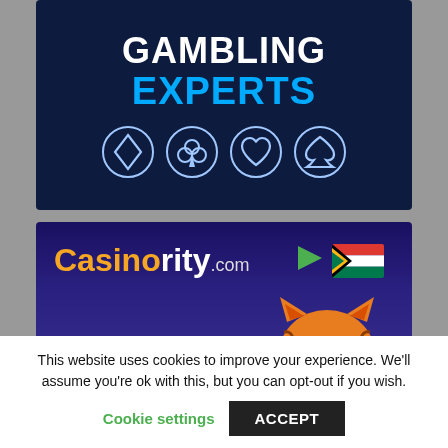[Figure (illustration): Online gambling experts banner with dark navy background, showing 'GAMBLING' in white bold text and 'EXPERTS' in cyan bold text, with four card suit symbols (diamond, club, heart, spade) in glowing circle outlines below]
[Figure (illustration): Casinority.com banner with dark blue/purple gradient background, showing the Casinority.com logo with orange and white text, a South Africa flag, a green arrow icon, and an animated tiger face in the bottom right]
This website uses cookies to improve your experience. We'll assume you're ok with this, but you can opt-out if you wish.
Cookie settings    ACCEPT